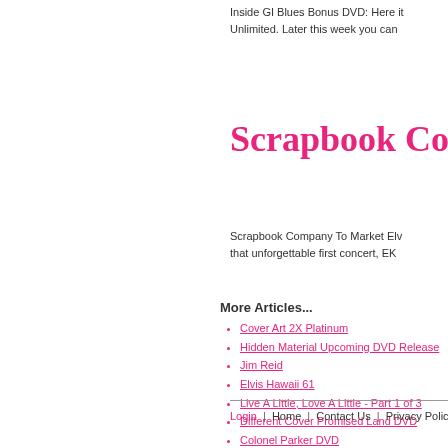Inside GI Blues Bonus DVD: Here it Unlimited. Later this week you can
Scrapbook Comp
Scrapbook Company To Market Elv that unforgettable first concert, EK
More Articles...
Cover Art 2X Platinum
Hidden Material Upcoming DVD Releases
Jim Reid
Elvis Hawaii 61
Live A Little, Love A Little - Part 1 of 3
Different Cover Promised Land DVD
Colonel Parker DVD
Summer Festival Cover Art And Details
Login | Home | Contact Us | Privacy Policy |